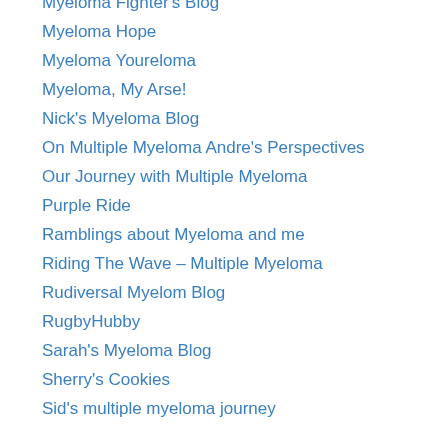Myeloma Fighter's Blog
Myeloma Hope
Myeloma Youreloma
Myeloma, My Arse!
Nick's Myeloma Blog
On Multiple Myeloma Andre's Perspectives
Our Journey with Multiple Myeloma
Purple Ride
Ramblings about Myeloma and me
Riding The Wave – Multiple Myeloma
Rudiversal Myelom Blog
RugbyHubby
Sarah's Myeloma Blog
Sherry's Cookies
Sid's multiple myeloma journey